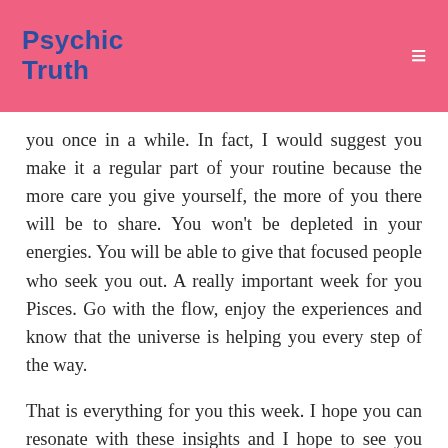Psychic Truth
you once in a while. In fact, I would suggest you make it a regular part of your routine because the more care you give yourself, the more of you there will be to share. You won't be depleted in your energies. You will be able to give that focused people who seek you out. A really important week for you Pisces. Go with the flow, enjoy the experiences and know that the universe is helping you every step of the way.
That is everything for you this week. I hope you can resonate with these insights and I hope to see you again next week.
Private Consultation